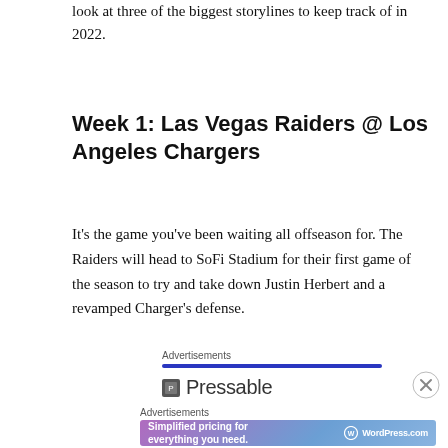look at three of the biggest storylines to keep track of in 2022.
Week 1: Las Vegas Raiders @ Los Angeles Chargers
It's the game you've been waiting all offseason for. The Raiders will head to SoFi Stadium for their first game of the season to try and take down Justin Herbert and a revamped Charger's defense.
Advertisements
Pressable
Advertisements
[Figure (infographic): WordPress.com advertisement banner: 'Simplified pricing for everything you need.' with WordPress.com logo on gradient purple-blue background]